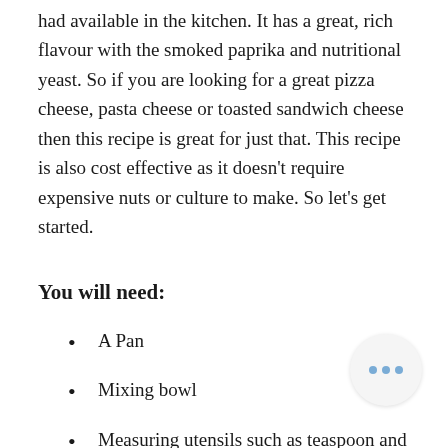had available in the kitchen. It has a great, rich flavour with the smoked paprika and nutritional yeast. So if you are looking for a great pizza cheese, pasta cheese or toasted sandwich cheese then this recipe is great for just that. This recipe is also cost effective as it doesn't require expensive nuts or culture to make. So let's get started.
You will need:
A Pan
Mixing bowl
Measuring utensils such as teaspoon and tablespoon measurements